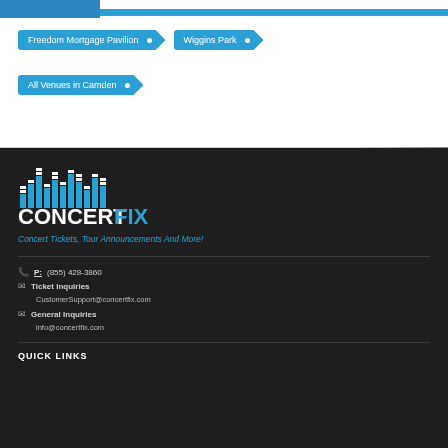[Figure (logo): Blue header bar with two-tone blue stripe]
Freedom Mortgage Pavilion
Wiggins Park
All Venues in Camden
[Figure (logo): ConcertFix logo with equalizer bar chart icon and CONCERTFIX text in white and blue]
Concert Tickets, Tour Announcements And More!
P: (855) 428-3860
Ticket Inquiries
CustomerSupport@concertfix.com
General Inquiries
info@concertfix.com
QUICK LINKS